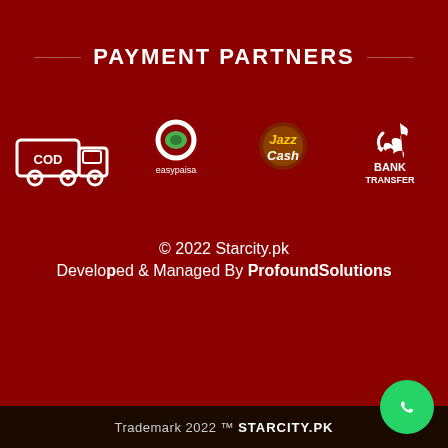PAYMENT PARTNERS
[Figure (logo): COD delivery truck icon (white outline on dark red)]
[Figure (logo): Easypaisa logo - green circular mark with easypaisa text]
[Figure (logo): JazzCash logo - colorful text logo]
[Figure (logo): Bank Transfer logo - white arrow icon with BANK TRANSFER text]
© 2022 Starcity.pk
Developed & Managed By ProfoundSolutions
Trademark 2022 ™ STARCITY.PK